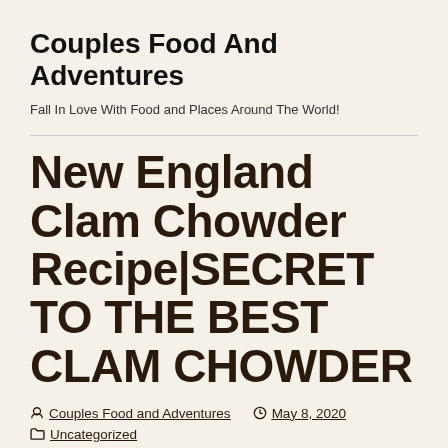Couples Food And Adventures
Fall In Love With Food and Places Around The World!
New England Clam Chowder Recipe|SECRET TO THE BEST CLAM CHOWDER
Couples Food and Adventures  May 8, 2020  Uncategorized